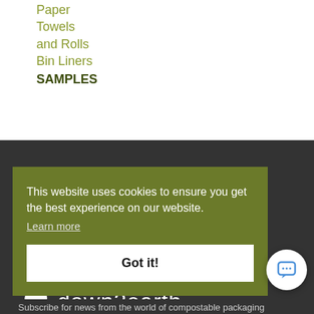Paper
Towels and Rolls
Bin Liners
SAMPLES
[Figure (logo): down2earth logo with two white leaf icons and the brand name in white text on dark background]
This website uses cookies to ensure you get the best experience on our website.
Learn more
Got it!
Subscribe for news from the world of compostable packaging